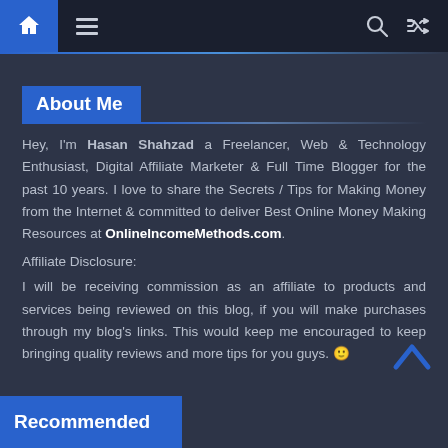Navigation bar with home icon, menu icon, search icon, shuffle icon
About Me
Hey, I'm Hasan Shahzad a Freelancer, Web & Technology Enthusiast, Digital Affiliate Marketer & Full Time Blogger for the past 10 years. I love to share the Secrets / Tips for Making Money from the Internet & committed to deliver Best Online Money Making Resources at OnlineIncomeMethods.com.
Affiliate Disclosure:
I will be receiving commission as an affiliate to products and services being reviewed on this blog, if you will make purchases through my blog's links. This would keep me encouraged to keep bringing quality reviews and more tips for you guys. 🙂
Recommended